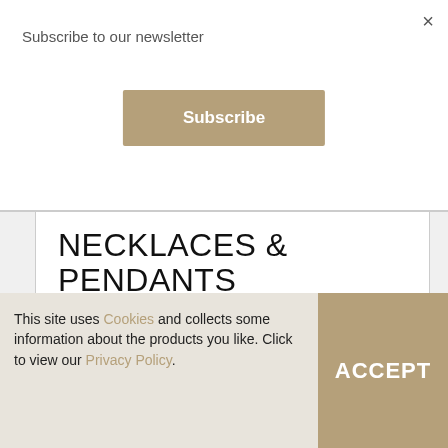Subscribe to our newsletter
Subscribe
×
NECKLACES & PENDANTS
NEWS
TENNIS BRACELETS
WEDDING RINGS
This site uses Cookies and collects some information about the products you like. Click to view our Privacy Policy.
ACCEPT